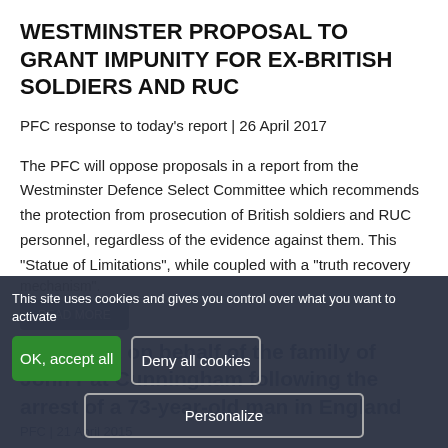WESTMINSTER PROPOSAL TO GRANT IMPUNITY FOR EX-BRITISH SOLDIERS AND RUC
PFC response to today's report | 26 April 2017
The PFC will oppose proposals in a report from the Westminster Defence Select Committee which recommends the protection from prosecution of British soldiers and RUC personnel, regardless of the evidence against them. This "Statue of Limitations", while coupled with a "truth recovery mechanism".
This site uses cookies and gives you control over what you want to activate
OK, accept all
Deny all cookies
Personalize
Statement on behalf of the family of John Pat Cunningham following the arrest of a 73-year-old man in England
PFC | 21 April 2015